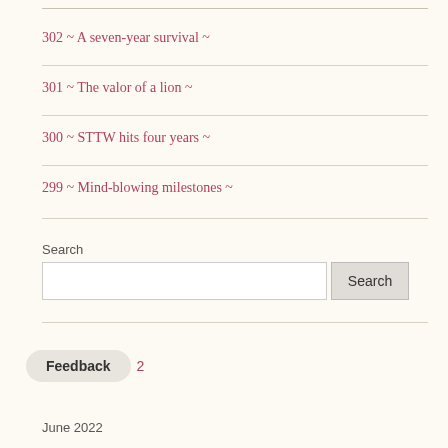302 ~ A seven-year survival ~
301 ~ The valor of a lion ~
300 ~ STTW hits four years ~
299 ~ Mind-blowing milestones ~
Search
Feedback
2
June 2022